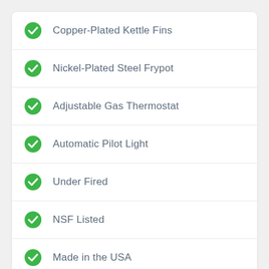Copper-Plated Kettle Fins
Nickel-Plated Steel Frypot
Adjustable Gas Thermostat
Automatic Pilot Light
Under Fired
NSF Listed
Made in the USA
[Figure (illustration): Black star logo partially visible at bottom of page]